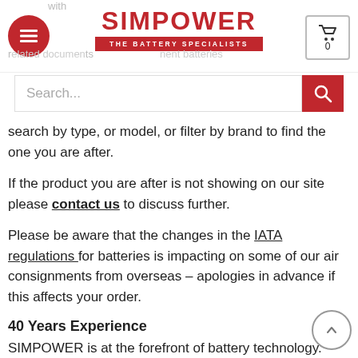SIMPOWER THE BATTERY SPECIALISTS
search by type, or model, or filter by brand to find the one you are after.
If the product you are after is not showing on our site please contact us to discuss further.
Please be aware that the changes in the IATA regulations for batteries is impacting on some of our air consignments from overseas – apologies in advance if this affects your order.
40 Years Experience
SIMPOWER is at the forefront of battery technology. With 40 years of expertise and experience in research contracts, design and developing of both new technology cells and